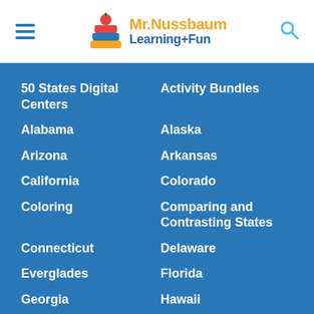Mr. Nussbaum Learning+Fun
50 States Digital Centers
Activity Bundles
Alabama
Alaska
Arizona
Arkansas
California
Colorado
Coloring
Comparing and Contrasting States
Connecticut
Delaware
Everglades
Florida
Georgia
Hawaii
Idaho
Illinois
Indiana
Iowa